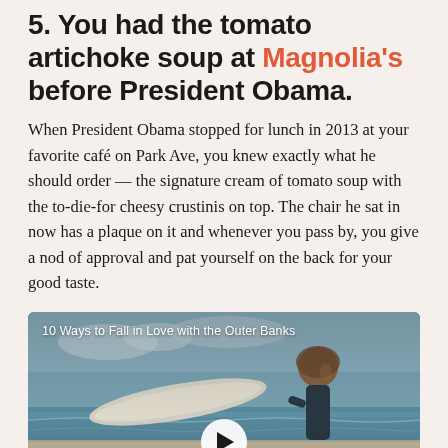5. You had the tomato artichoke soup at Magnolia's before President Obama.
When President Obama stopped for lunch in 2013 at your favorite café on Park Ave, you knew exactly what he should order — the signature cream of tomato soup with the to-die-for cheesy crustinis on top. The chair he sat in now has a plaque on it and whenever you pass by, you give a nod of approval and pat yourself on the back for your good taste.
[Figure (photo): Video thumbnail showing a young person on a beach holding a surfboard, with ocean and sky in background. White play button overlay. Caption reads '10 Ways to Fall in Love with the Outer Banks'.]